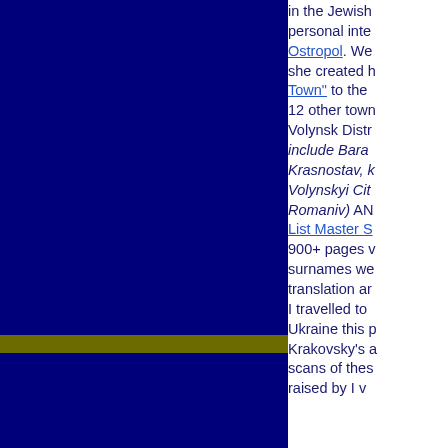[Figure (other): Dark navy blue rectangle occupying the left portion of the page, with an olive/yellow-green horizontal bar near the bottom of the blue area.]
in the Jewish personal inte Ostropol. We she created h Town" to the 12 other town Volynsk Distr include Baran Krasnostav, k Volynskyi Cit Romaniv) AND List Master S 900+ pages v surnames we translation an  I travelled to Ukraine this p Krakovsky's a scans of thes raised by I v